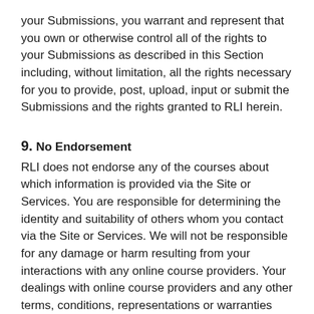your Submissions, you warrant and represent that you own or otherwise control all of the rights to your Submissions as described in this Section including, without limitation, all the rights necessary for you to provide, post, upload, input or submit the Submissions and the rights granted to RLI herein.
9. No Endorsement
RLI does not endorse any of the courses about which information is provided via the Site or Services. You are responsible for determining the identity and suitability of others whom you contact via the Site or Services. We will not be responsible for any damage or harm resulting from your interactions with any online course providers. Your dealings with online course providers and any other terms, conditions, representations or warranties associated with such dealings, are between you and such online course providers exclusively and do not involve RLI. You should make whatever investigation or other resources that you deem necessary or appropriate before signing up for any online